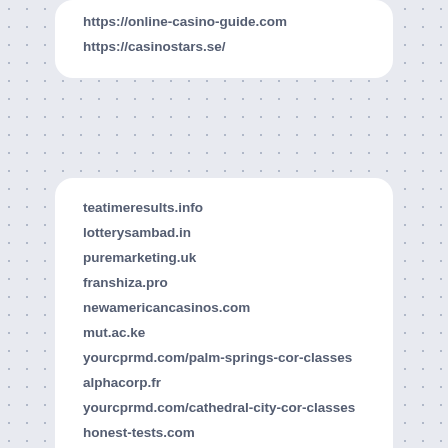https://online-casino-guide.com
https://casinostars.se/
teatimeresults.info
lotterysambad.in
puremarketing.uk
franshiza.pro
newamericancasinos.com
mut.ac.ke
yourcprmd.com/palm-springs-cor-classes
alphacorp.fr
yourcprmd.com/cathedral-city-cor-classes
honest-tests.com
eerlijke-tests.nl
szczere-testy.pl
hederlig-tests.se
algeriemarches.com